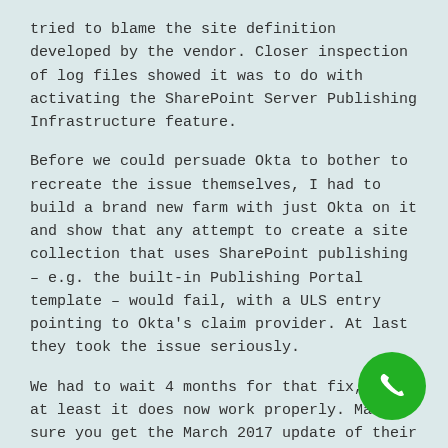tried to blame the site definition developed by the vendor. Closer inspection of log files showed it was to do with activating the SharePoint Server Publishing Infrastructure feature.
Before we could persuade Okta to bother to recreate the issue themselves, I had to build a brand new farm with just Okta on it and show that any attempt to create a site collection that uses SharePoint publishing – e.g. the built-in Publishing Portal template – would fail, with a ULS entry pointing to Okta's claim provider. At last they took the issue seriously.
We had to wait 4 months for that fix, but at least it does now work properly. Make sure you get the March 2017 update of their people picker solution.
#8: Migrate All Your SharePoint Web Applications